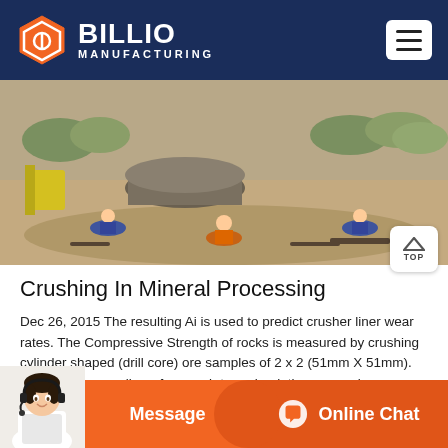BILLIO MANUFACTURING
[Figure (photo): Construction/mining workers at an open-air site working on ground, with heavy equipment including a large circular concrete structure in the background, dry dusty terrain with trees visible in the distance]
Crushing In Mineral Processing
Dec 26, 2015 The resulting Ai is used to predict crusher liner wear rates. The Compressive Strength of rocks is measured by crushing cylinder shaped (drill core) ore samples of 2 x 2 (51mm X 51mm). This techniques allows for a rock-to-rock relative comparison.
[Figure (screenshot): Bottom chat bar with customer service representative image, Message button and Online Chat button on orange background]